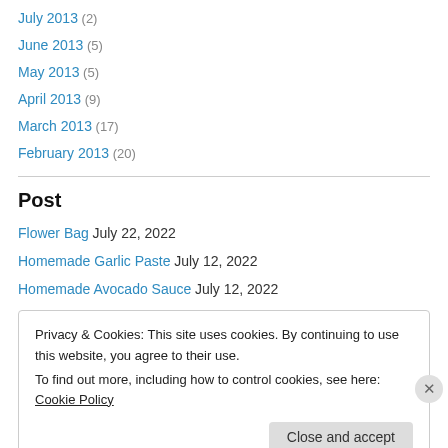July 2013 (2)
June 2013 (5)
May 2013 (5)
April 2013 (9)
March 2013 (17)
February 2013 (20)
Post
Flower Bag July 22, 2022
Homemade Garlic Paste July 12, 2022
Homemade Avocado Sauce July 12, 2022
Privacy & Cookies: This site uses cookies. By continuing to use this website, you agree to their use. To find out more, including how to control cookies, see here: Cookie Policy
Close and accept